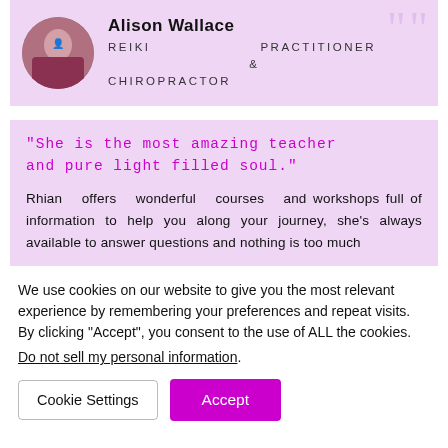[Figure (photo): Circular profile photo of Alison Wallace]
Alison Wallace
REIKI PRACTITIONER & CHIROPRACTOR
"She is the most amazing teacher and pure light filled soul."
Rhian offers wonderful courses and workshops full of information to help you along your journey, she's always available to answer questions and nothing is too much
We use cookies on our website to give you the most relevant experience by remembering your preferences and repeat visits. By clicking “Accept”, you consent to the use of ALL the cookies.
Do not sell my personal information.